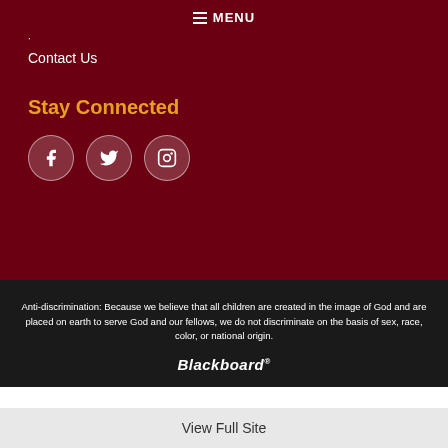☰ MENU
Contact Us
Stay Connected
[Figure (other): Social media icons: Facebook, Twitter, Instagram in circular outlines on dark red background]
Anti-discrimination: Because we believe that all children are created in the image of God and are placed on earth to serve God and our fellows, we do not discriminate on the basis of sex, race, color, or national origin.
Blackboard
View Full Site